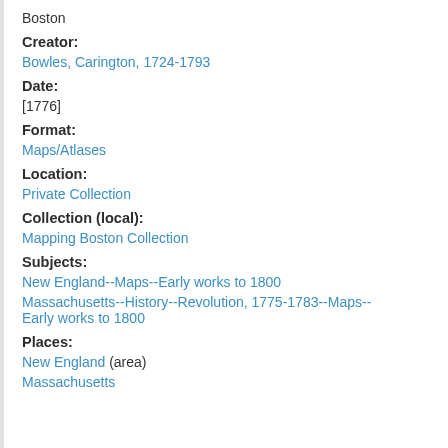Boston
Creator:
Bowles, Carington, 1724-1793
Date:
[1776]
Format:
Maps/Atlases
Location:
Private Collection
Collection (local):
Mapping Boston Collection
Subjects:
New England--Maps--Early works to 1800
Massachusetts--History--Revolution, 1775-1783--Maps--Early works to 1800
Places:
New England (area)
Massachusetts